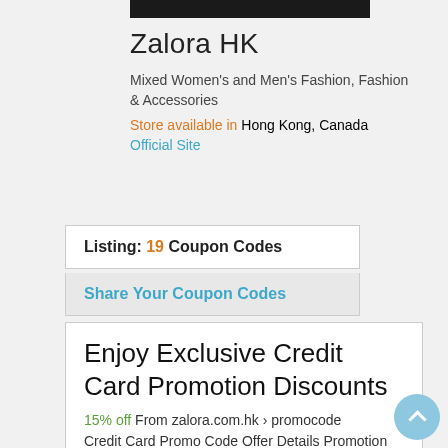[Figure (other): Black horizontal bar image at the top]
Zalora HK
Mixed Women's and Men's Fashion, Fashion & Accessories
Store available in Hong Kong, Canada
Official Site
Listing: 19 Coupon Codes
Share Your Coupon Codes
Enjoy Exclusive Credit Card Promotion Discounts
15% off From zalora.com.hk › promocode Credit Card Promo Code Offer Details Promotion Period; HSBC Credit Card: HSBC2022: 15% off,